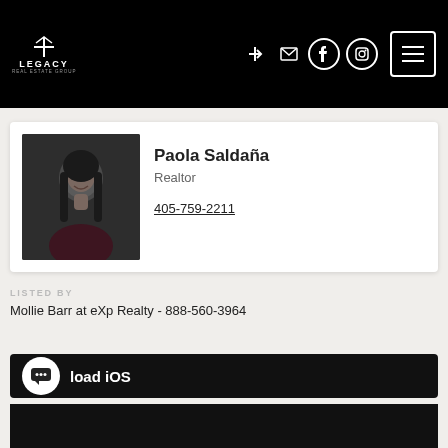[Figure (logo): Legacy Real Estate Group logo in white on black header]
[Figure (photo): Headshot of Paola Saldana, a young woman with long dark hair, smiling, wearing a dark top, against a dark studio background]
Paola Saldaña
Realtor
405-759-2211
LISTED BY
Mollie Barr at eXp Realty - 888-560-3964
load iOS